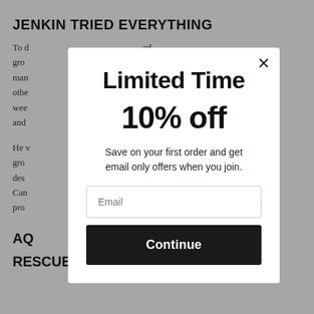JENKIN TRIED EVERYTHING
To d
gro
man
othe
wee
and
He v
gro
des
Can
pro
AQ
RESCUE
[Figure (screenshot): Modal popup overlay with close button (×), heading 'Limited Time', discount '10% off', description 'Save on your first order and get email only offers when you join.', an email input field, and a dark 'Continue' button.]